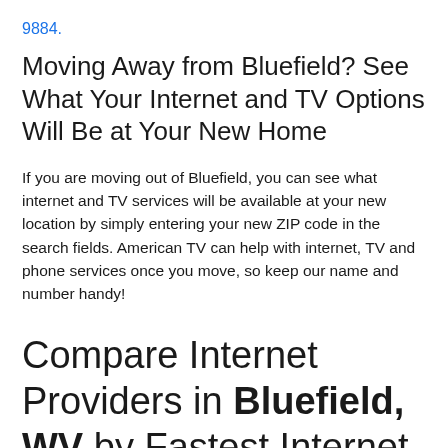9884.
Moving Away from Bluefield? See What Your Internet and TV Options Will Be at Your New Home
If you are moving out of Bluefield, you can see what internet and TV services will be available at your new location by simply entering your new ZIP code in the search fields. American TV can help with internet, TV and phone services once you move, so keep our name and number handy!
Compare Internet Providers in Bluefield, WV by Fastest Internet